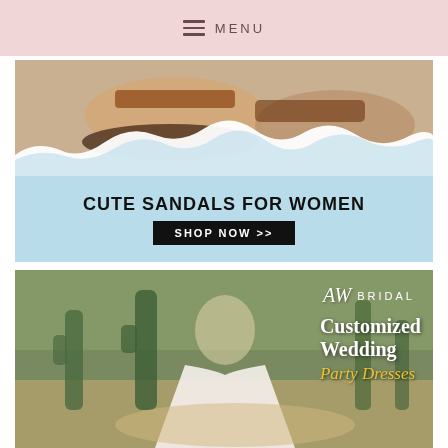MENU
[Figure (photo): Advertisement for cute sandals for women showing close-up of feet wearing sandals with torn paper graphic effect, light blue background, text CUTE SANDALS FOR WOMEN and SHOP NOW >> button]
[Figure (photo): Advertisement for AW Bridal showing a woman in a white wedding ball gown in a desert landscape with cacti, text reads AW BRIDAL, Customized Wedding Party Dresses]